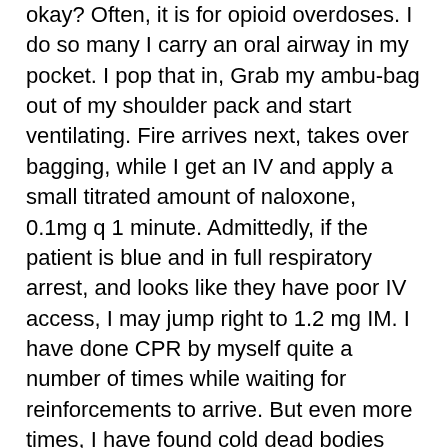okay?  Often, it is for opioid overdoses.  I do so many I carry an oral airway in my pocket.  I pop that in, Grab my ambu-bag out of my shoulder pack and start ventilating.  Fire arrives next, takes over bagging, while I get an IV and apply a small titrated amount of naloxone, 0.1mg q 1 minute.  Admittedly, if the patient is blue and in full respiratory arrest, and looks like they have poor IV access, I may jump right to 1.2 mg IM.  I have done CPR by myself quite a number of times while waiting for reinforcements to arrive.  But even more times, I have found cold dead bodies and then spoken into my radio, “Cancel the ambulance.  It’s a presumption.”  I sit with the body until the Police come to take over the scene.  I leave them an index card with my name, date of birth, license number, vehicle number, time of death, and name and dob of the decedent.  It is all for their report.
Last week, I arrived first at a tall apartment building whose